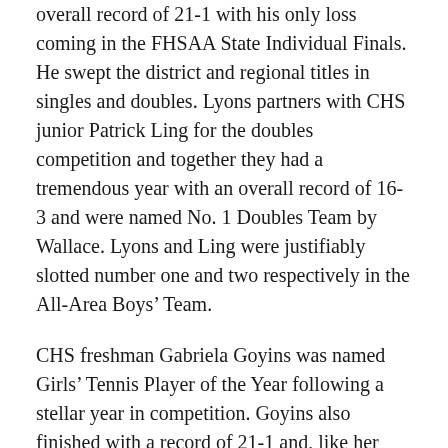overall record of 21-1 with his only loss coming in the FHSAA State Individual Finals. He swept the district and regional titles in singles and doubles. Lyons partners with CHS junior Patrick Ling for the doubles competition and together they had a tremendous year with an overall record of 16-3 and were named No. 1 Doubles Team by Wallace. Lyons and Ling were justifiably slotted number one and two respectively in the All-Area Boys' Team.
CHS freshman Gabriela Goyins was named Girls' Tennis Player of the Year following a stellar year in competition. Goyins also finished with a record of 21-1 and, like her male counterpart, her only loss of the year was at the FHSAA State Tournament. She also took district and regional titles in singles and doubles competitions. Her doubles partner is CHS junior Maggie Eddins, who was also named to the All-Area Girls' Team.
Catholic High's Geoff Watts was also named All-Area